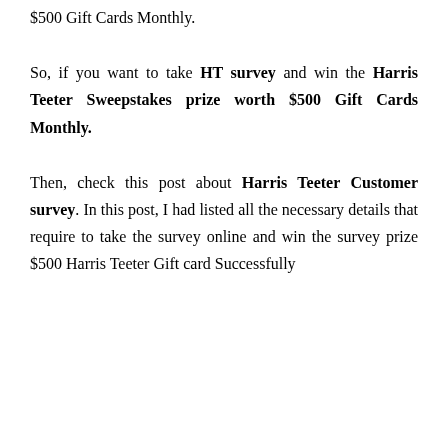$500 Gift Cards Monthly.
So, if you want to take HT survey and win the Harris Teeter Sweepstakes prize worth $500 Gift Cards Monthly.
Then, check this post about Harris Teeter Customer survey. In this post, I had listed all the necessary details that require to take the survey online and win the survey prize $500 Harris Teeter Gift card Successfully